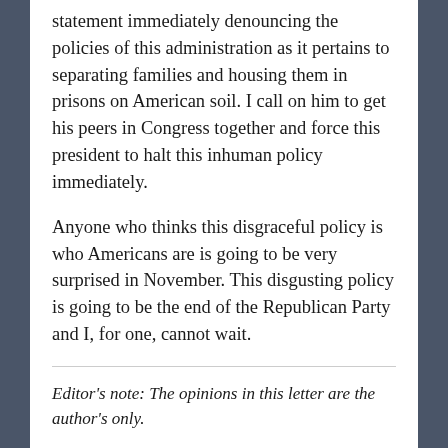statement immediately denouncing the policies of this administration as it pertains to separating families and housing them in prisons on American soil. I call on him to get his peers in Congress together and force this president to halt this inhuman policy immediately.
Anyone who thinks this disgraceful policy is who Americans are is going to be very surprised in November. This disgusting policy is going to be the end of the Republican Party and I, for one, cannot wait.
Editor's note: The opinions in this letter are the author's only.